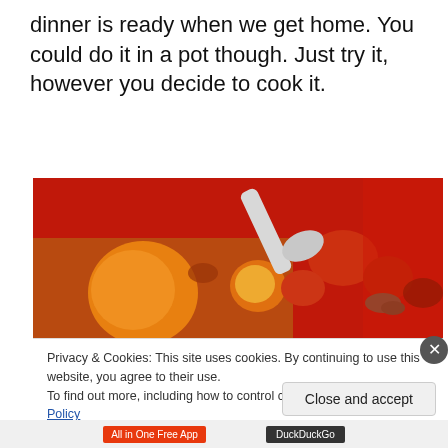dinner is ready when we get home. You could do it in a pot though. Just try it, however you decide to cook it.
[Figure (photo): Close-up photo of vegetable stew in a red pot, showing carrot slices, tomatoes, and other vegetables with a spoon/ladle visible at the top.]
Privacy & Cookies: This site uses cookies. By continuing to use this website, you agree to their use.
To find out more, including how to control cookies, see here: Cookie Policy
Close and accept
All in One Free App
DuckDuckGo